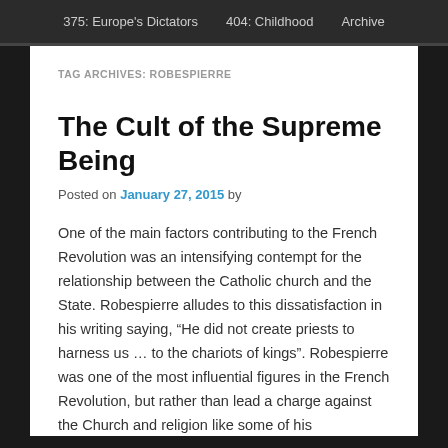375: Europe's Dictators   404: Childhood   Archive
TAG ARCHIVES: ROBESPIERRE
The Cult of the Supreme Being
Posted on January 27, 2015 by
One of the main factors contributing to the French Revolution was an intensifying contempt for the relationship between the Catholic church and the State. Robespierre alludes to this dissatisfaction in his writing saying, “He did not create priests to harness us … to the chariots of kings”. Robespierre was one of the most influential figures in the French Revolution, but rather than lead a charge against the Church and religion like some of his revolutionary peers, he is able to rally a cause for revolution fueled by new, but fervent religious grounds